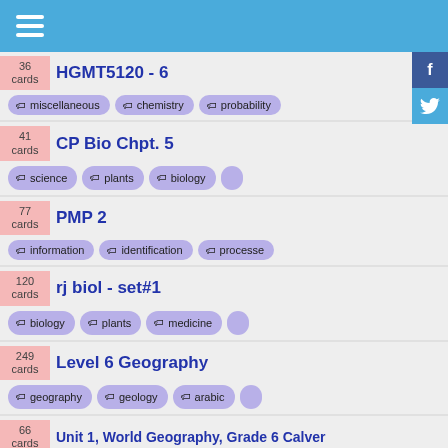Navigation menu
36 cards — HGMT5120 - 6 | tags: miscellaneous, chemistry, probability
41 cards — CP Bio Chpt. 5 | tags: science, plants, biology
77 cards — PMP 2 | tags: information, identification, processes
120 cards — rj biol - set#1 | tags: biology, plants, medicine
249 cards — Level 6 Geography | tags: geography, geology, arabic
66 cards — Unit 1, World Geography, Grade 6 Calvert | tags: geology, geometry, judaism
66 cards — Visual Basic 6.0